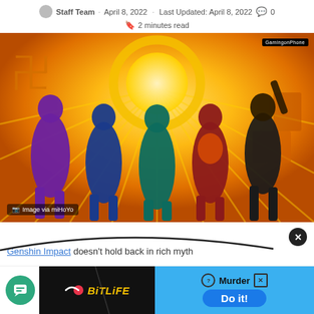Staff Team · April 8, 2022  Last Updated: April 8, 2022  💬 0
🔖 2 minutes read
[Figure (illustration): Colorful stylized game art showing five elemental characters silhouetted against a radiant golden sun background with orange/yellow motifs. Characters colored in purple, blue, green/teal, red, and dark tones. 'GamingonPhone' badge in top right. Caption overlay: 'Image via miHoYo'.]
Genshin Impact doesn't hold back in rich myth...
[Figure (screenshot): Ad banner for BitLife mobile game showing logo on dark background and 'Murder - Do it!' call to action on blue background. Close button (X) in top right.]